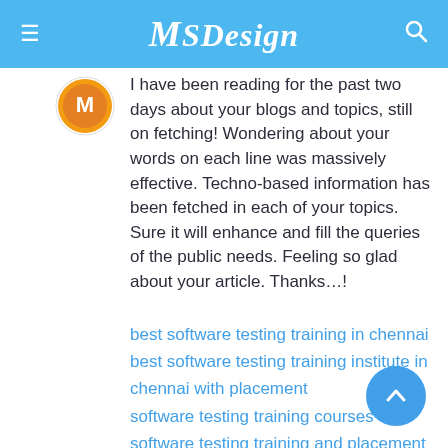MSDesign
[Figure (illustration): Orange circular avatar/profile icon]
I have been reading for the past two days about your blogs and topics, still on fetching! Wondering about your words on each line was massively effective. Techno-based information has been fetched in each of your topics. Sure it will enhance and fill the queries of the public needs. Feeling so glad about your article. Thanks…!
best software testing training in chennai
best software testing training institute in chennai with placement
software testing training courses
software testing training and placement
software testing training online
software testing class
software testing classes in chennai
best software testing courses in chennai
automation testing courses in chennai
digital marketing training in chennai